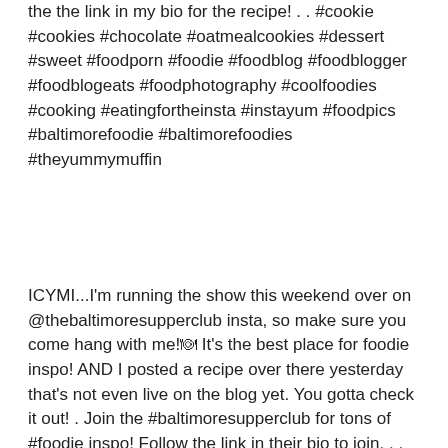the the link in my bio for the recipe! . . #cookie #cookies #chocolate #oatmealcookies #dessert #sweet #foodporn #foodie #foodblog #foodblogger #foodblogeats #foodphotography #coolfoodies #cooking #eatingfortheinsta #instayum #foodpics #baltimorefoodie #baltimorefoodies #theyummymuffin
ICYMI...I'm running the show this weekend over on @thebaltimoresupperclub insta, so make sure you come hang with me!🍽 It's the best place for foodie inspo! AND I posted a recipe over there yesterday that's not even live on the blog yet. You gotta check it out! . Join the #baltimoresupperclub for tons of #foodie inspo! Follow the link in their bio to join. . . #food #foodblogger #inspirationalquotes #Mondaymotivation #mood #mc...